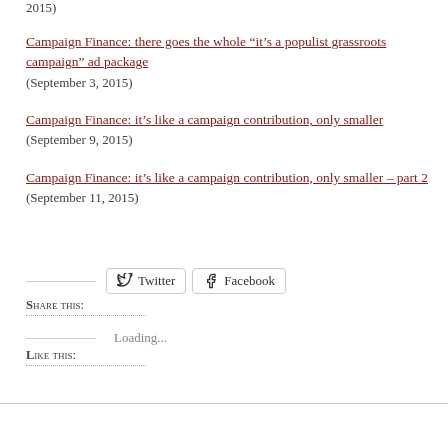2015)
Campaign Finance: there goes the whole “it’s a populist grassroots campaign” ad package (September 3, 2015)
Campaign Finance: it's like a campaign contribution, only smaller (September 9, 2015)
Campaign Finance: it's like a campaign contribution, only smaller – part 2 (September 11, 2015)
Share this:
Like this:
Loading...